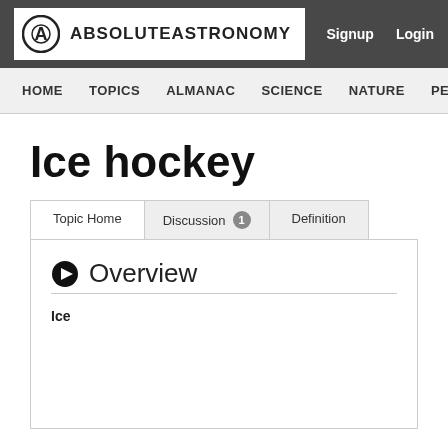ABSOLUTEASTRONOMY  Signup  Login
HOME  TOPICS  ALMANAC  SCIENCE  NATURE  PEOPLE
Ice hockey
Topic Home  Discussion 1  Definition
Overview
Ice